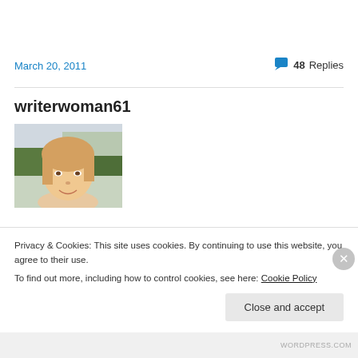March 20, 2011
48 Replies
writerwoman61
[Figure (photo): Profile photo of a middle-aged blonde woman smiling, outdoors with trees in background]
Privacy & Cookies: This site uses cookies. By continuing to use this website, you agree to their use.
To find out more, including how to control cookies, see here: Cookie Policy
Close and accept